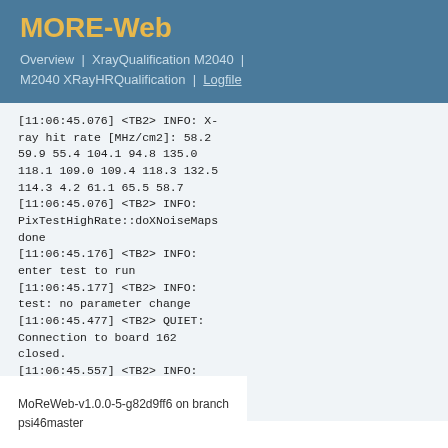MORE-Web
Overview | XrayQualification M2040 | M2040 XRayHRQualification | Logfile
[11:06:45.076] <TB2> INFO: X-ray hit rate [MHz/cm2]: 58.2 59.9 55.4 104.1 94.8 135.0 118.1 109.0 109.4 118.3 132.5 114.3 4.2 61.1 65.5 58.7
[11:06:45.076] <TB2> INFO: PixTestHighRate::doXNoiseMaps done
[11:06:45.176] <TB2> INFO: enter test to run
[11:06:45.177] <TB2> INFO: test: no parameter change
[11:06:45.477] <TB2> QUIET: Connection to board 162 closed.
[11:06:45.557] <TB2> INFO: pXar: this is the end, my friend
MoReWeb-v1.0.0-5-g82d9ff6 on branch psi46master